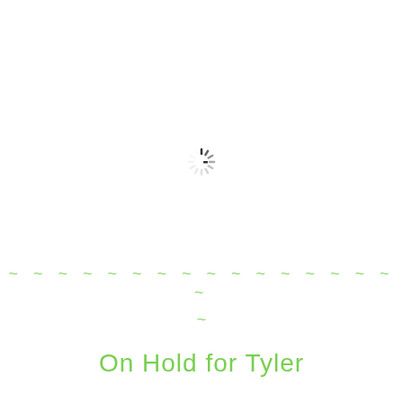[Figure (other): Loading spinner icon centered in upper portion of page, gray radial lines forming a circular loading indicator]
~ ~ ~ ~ ~ ~ ~ ~ ~ ~ ~ ~ ~ ~ ~ ~ ~
~
On Hold for Tyler